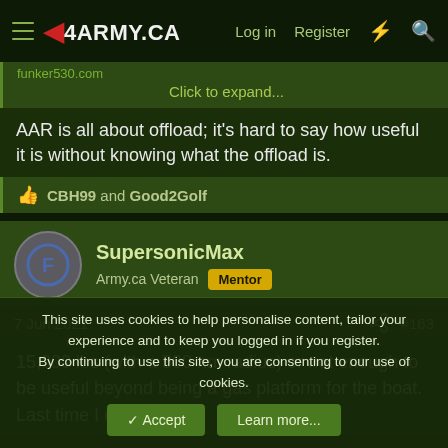4ARMY.CA  Log in  Register
funker530.com   Click to expand...
AAR is all about offload; it's hard to say how useful it is without knowing what the offload is.
CBH99 and Good2Golf
SupersonicMax  Army.ca Veteran  Mentor
7 Jun 2021  #163
15,000 lbs (with a 500 nm radius) or not enough to be useful beyond being a gas platform for the boat. Last time I conducted
This site uses cookies to help personalise content, tailor your experience and to keep you logged in if you register.
By continuing to use this site, you are consenting to our use of cookies.
Accept  Learn more...